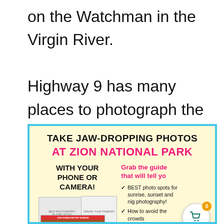on the Watchman in the Virgin River.

Highway 9 has many places to photograph the Zion landscape. Stop at pullouts as you drive along
[Figure (infographic): Promotional infographic for a photography guide titled 'TAKE JAW-DROPPING PHOTOS AT ZION NATIONAL PARK WITH YOUR PHONE OR CAMERA!' featuring a shopping cart icon with badge showing 0, text 'Grab the guide that will tell yo...' with checkmarks listing 'BEST photo spots for sunrise, sunset and nig... photography!' and 'How to avoid the crowds']